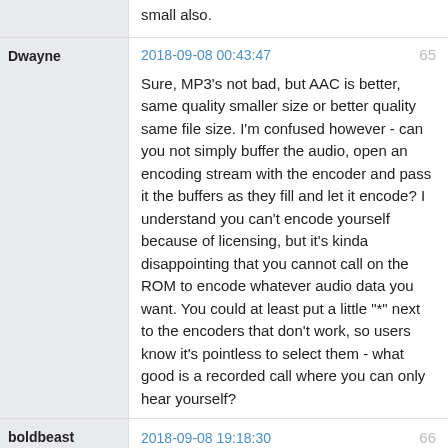small also.
Dwayne
2018-09-08 00:43:47
65
Sure, MP3's not bad, but AAC is better, same quality smaller size or better quality same file size. I'm confused however - can you not simply buffer the audio, open an encoding stream with the encoder and pass it the buffers as they fill and let it encode? I understand you can't encode yourself because of licensing, but it's kinda disappointing that you cannot call on the ROM to encode whatever audio data you want. You could at least put a little "*" next to the encoders that don't work, so users know it's pointless to select them - what good is a recorded call where you can only hear yourself?
boldbeast
2018-09-08 19:18:30
66